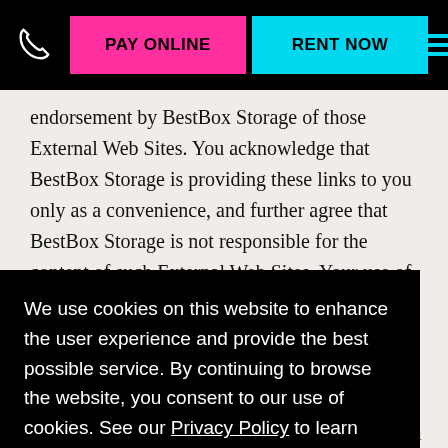PAY ONLINE | RENT NOW
endorsement by BestBox Storage of those External Web Sites. You acknowledge that BestBox Storage is providing these links to you only as a convenience, and further agree that BestBox Storage is not responsible for the content of such External Web Sites. Your use of External Web Sites is subject to the terms of use and privacy policies located on
We use cookies on this website to enhance the user experience and provide the best possible service. By continuing to browse the website, you consent to our use of cookies. See our Privacy Policy to learn more.
Okay, Got it
firewalls, password protection, secure socket layer, and other security measures to help ensure that unauthorized